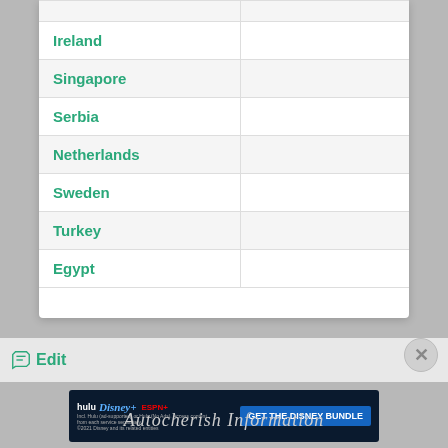| Country |  |
| --- | --- |
| Ireland |  |
| Singapore |  |
| Serbia |  |
| Netherlands |  |
| Sweden |  |
| Turkey |  |
| Egypt |  |
Edit
[Figure (screenshot): Hulu Disney+ ESPN+ GET THE DISNEY BUNDLE advertisement banner]